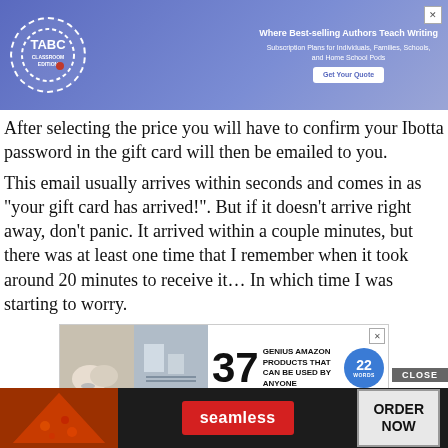[Figure (screenshot): TABC Classroom Edition advertisement banner with blue/purple gradient background, logo with dashed circle, text 'Where Best-selling Authors Teach Writing', 'Get Your Quote' button, and X close button]
After selecting the price you will have to confirm your Ibotta password in the gift card will then be emailed to you.
This email usually arrives within seconds and comes in as "your gift card has arrived!". But if it doesn't arrive right away, don't panic. It arrived within a couple minutes, but there was at least one time that I remember when it took around 20 minutes to receive it… In which time I was starting to worry.
[Figure (screenshot): Advertisement banner: '37 GENIUS AMAZON PRODUCTS THAT CAN BE USED BY ANYONE' with product images on left and 22 Words badge on right]
In the email you receive you will be able to click a link which will take you to your electronic gift card. The gift card will have a code o[n it] u can
[Figure (screenshot): Seamless food delivery advertisement at bottom: pizza image on left, red Seamless logo in center, 'ORDER NOW' button on right, with 'CLOSE' button above]